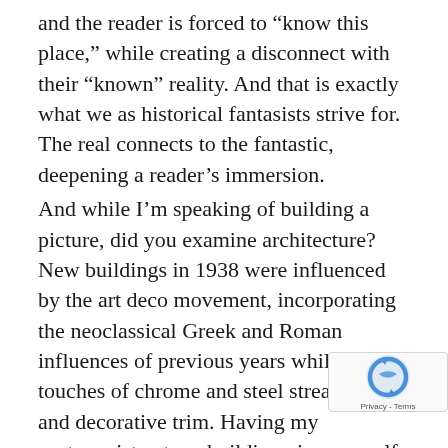and the reader is forced to "know this place," while creating a disconnect with their "known" reality. And that is exactly what we as historical fantasists strive for. The real connects to the fantastic, deepening a reader's immersion.
And while I'm speaking of building a picture, did you examine architecture? New buildings in 1938 were influenced by the art deco movement, incorporating the neoclassical Greek and Roman influences of previous years while adding touches of chrome and steel streamlining and decorative trim. Having my protagonist enter a building gives myself the opportunity to comment on the physical details of the entry and further sets time and place.